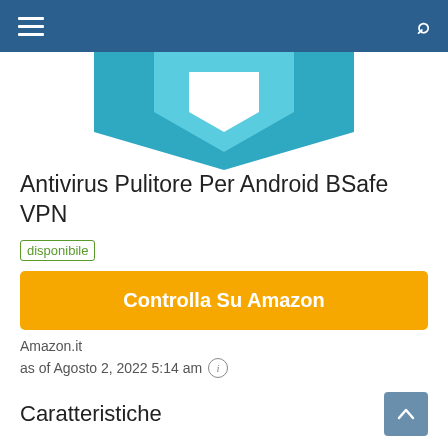≡  🔍
[Figure (illustration): Partial view of a teal/blue downward-pointing arrow or chevron shape on white background, visible at top of content area.]
Antivirus Pulitore Per Android BSafe VPN
disponibile
Controlla Su Amazon
Amazon.it
as of Agosto 2, 2022 5:14 am ⓘ
Caratteristiche
Sicurezza e protezione Android
Controllo e aggiornamenti giornalieri del database dei virus